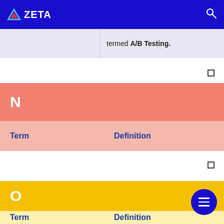ZETA
| Term | Definition |
| --- | --- |
|  | termed A/B Testing. |
N
| Term | Definition |
| --- | --- |
O
| Term | Definition |
| --- | --- |